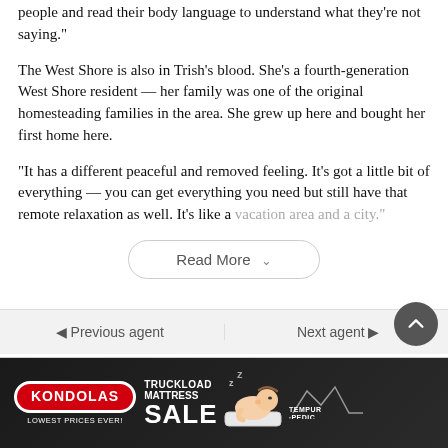people and read their body language to understand what they’re not saying.”
The West Shore is also in Trish’s blood. She’s a fourth-generation West Shore resident — her family was one of the original homesteading families in the area. She grew up here and bought her first home here.
“It has a different peaceful and removed feeling. It’s got a little bit of everything — you can get everything you need but still have that remote relaxation as well. It’s like a vacation area and a city.”
Read More
[Figure (other): Kondolas Truckload Mattress Sale advertisement banner with Tempur-Pedic logo and baby sleeping on mattress image]